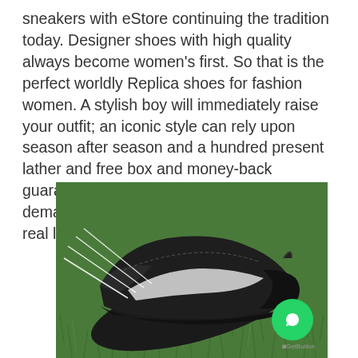sneakers with eStore continuing the tradition today. Designer shoes with high quality always become women's first. So that is the perfect worldly Replica shoes for fashion women. A stylish boy will immediately raise your outfit; an iconic style can rely upon season after season and a hundred present lather and free box and money-back guaranteed because the customer demanded real lather. So that we provide real lather.
[Figure (photo): A black and white sneaker lying on green grass, with white laces spread out, photographed from above. A green WhatsApp chat button with GetButton branding is overlaid in the bottom right corner.]